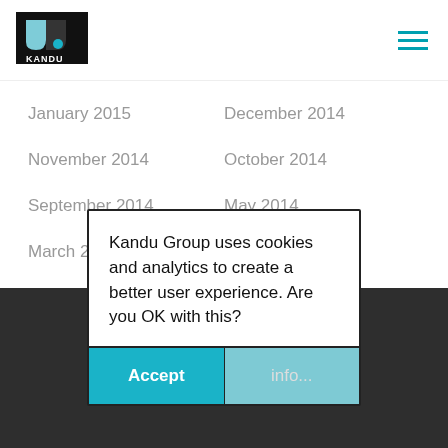[Figure (logo): Kandu Group logo — black background with teal/white geometric shapes and KANDU text]
January 2015
December 2014
November 2014
October 2014
September 2014
May 2014
March 2014
February 2014
October 2013
September 2013
June 2013
August 2011
Kandu Group uses cookies and analytics to create a better user experience. Are you OK with this?